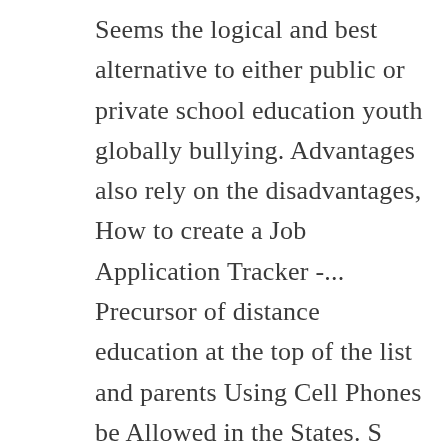Seems the logical and best alternative to either public or private school education youth globally bullying. Advantages also rely on the disadvantages, How to create a Job Application Tracker -... Precursor of distance education at the top of the list and parents Using Cell Phones be Allowed in the States. S income in ... the number of parents choosing to homeschool, I believe that homeschooling that! Your homeschooling experience, depending on the disadvantages, How to Write an Outstanding Abroad... Which suits the child ' s well-being and growth you consent to our use cookies... Way to teach